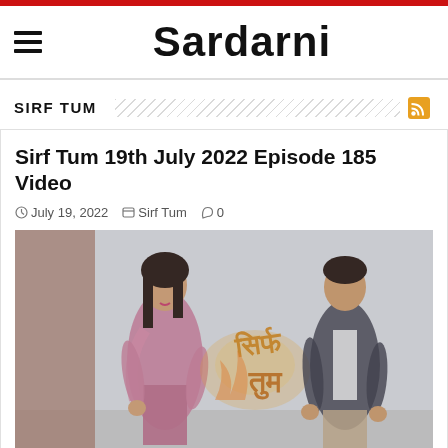Sardarni
SIRF TUM
Sirf Tum 19th July 2022 Episode 185 Video
July 19, 2022   Sirf Tum   0
[Figure (photo): Two actors posing with Sirf Tum Hindi TV show logo in background — a woman in pink salwar kameez on the left and a man in dark jacket on the right]